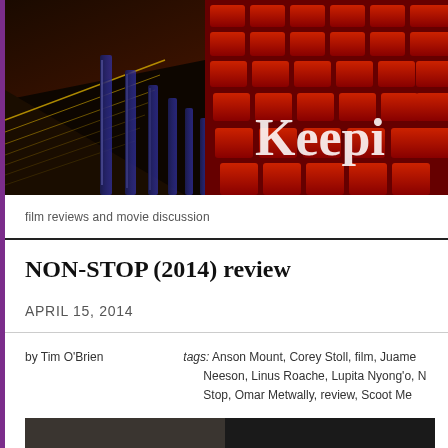[Figure (photo): Header photo of red cinema seats with dramatic lighting and text 'Keepi' (partially visible) overlaid in white serif font]
film reviews and movie discussion
NON-STOP (2014) review
APRIL 15, 2014
by Tim O'Brien   tags: Anson Mount, Corey Stoll, film, Juame... Neeson, Linus Roache, Lupita Nyong'o, N... Stop, Omar Metwally, review, Scoot Me...
[Figure (photo): Bottom partial image, appears to be a movie scene screenshot]